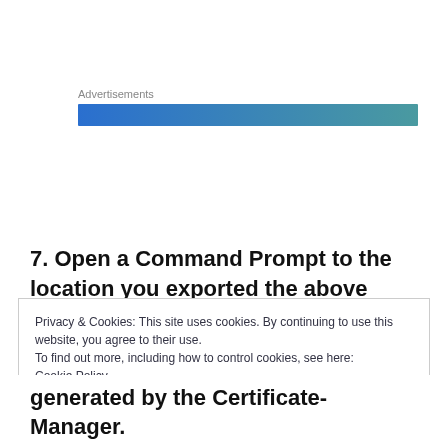[Figure (other): Advertisement banner with gradient bar from blue to teal, labeled 'Advertisements']
7. Open a Command Prompt to the location you exported the above certificates. Next we need to concatenate them into a single certificate chain, with the new VMCA on top, followed by the Intermediate CA, followed by the Root CA.
Privacy & Cookies: This site uses cookies. By continuing to use this website, you agree to their use.
To find out more, including how to control cookies, see here:
Cookie Policy
[Close and accept]
generated by the Certificate-Manager.